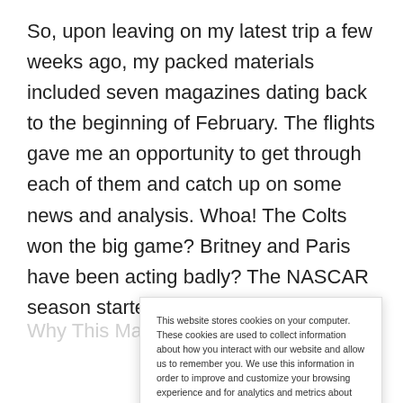So, upon leaving on my latest trip a few weeks ago, my packed materials included seven magazines dating back to the beginning of February. The flights gave me an opportunity to get through each of them and catch up on some news and analysis. Whoa! The Colts won the big game? Britney and Paris have been acting badly? The NASCAR season started?
This website stores cookies on your computer. These cookies are used to collect information about how you interact with our website and allow us to remember you. We use this information in order to improve and customize your browsing experience and for analytics and metrics about our visitors both on this website and other media. To find out more about the cookies we use, see our Privacy Policy. California residents have the right to direct us not to sell their personal information to third parties by filing an Opt-Out Request: Do Not Sell My Personal Info.